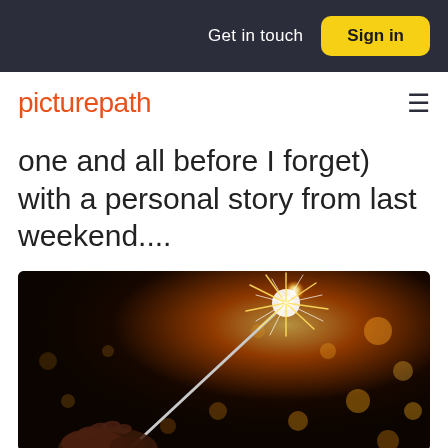Get in touch   Sign in
picturepath
one and all before I forget) with a personal story from last weekend....
[Figure (photo): A hand holding a lit sparkler against a dark background with warm bokeh light spots]